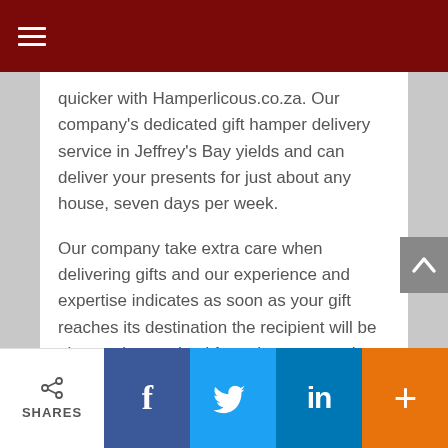quicker with Hamperlicous.co.za. Our company's dedicated gift hamper delivery service in Jeffrey's Bay yields and can deliver your presents for just about any house, seven days per week.
Our company take extra care when delivering gifts and our experience and expertise indicates as soon as your gift reaches its destination the recipient will be pleasantly surprised from the presentation. For a same day gift delivery all you need to do is decide on your favourite basket from our online range, enter your details and buy. Should it be for an wedding anniversary, for a bday or just because! We're going to deliver straight to the residence whenever you want.
SHARES  f  in  +